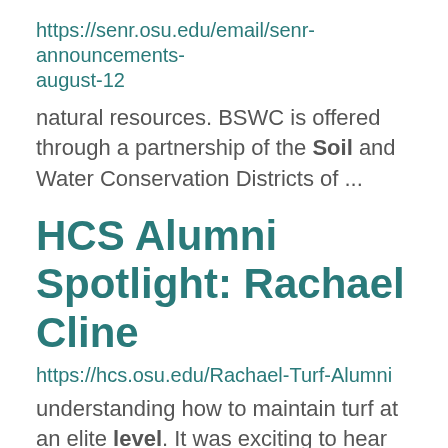https://senr.osu.edu/email/senr-announcements-august-12
natural resources. BSWC is offered through a partnership of the Soil and Water Conservation Districts of ...
HCS Alumni Spotlight: Rachael Cline
https://hcs.osu.edu/Rachael-Turf-Alumni
understanding how to maintain turf at an elite level. It was exciting to hear about a hands-on science field ... relevant to real life scenarios and forced me to think outside the box by applying my knowledge. Through ... hands-on